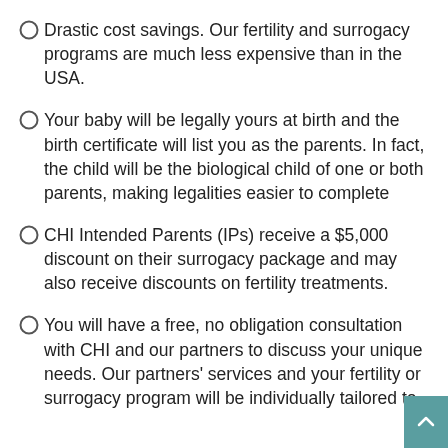Drastic cost savings. Our fertility and surrogacy programs are much less expensive than in the USA.
Your baby will be legally yours at birth and the birth certificate will list you as the parents. In fact, the child will be the biological child of one or both parents, making legalities easier to complete
CHI Intended Parents (IPs) receive a $5,000 discount on their surrogacy package and may also receive discounts on fertility treatments.
You will have a free, no obligation consultation with CHI and our partners to discuss your unique needs. Our partners' services and your fertility or surrogacy program will be individually tailored to